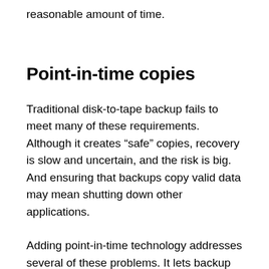reasonable amount of time.
Point-in-time copies
Traditional disk-to-tape backup fails to meet many of these requirements. Although it creates “safe” copies, recovery is slow and uncertain, and the risk is big. And ensuring that backups copy valid data may mean shutting down other applications.
Adding point-in-time technology addresses several of these problems. It lets backup (on a consistent, stable copy) and primary